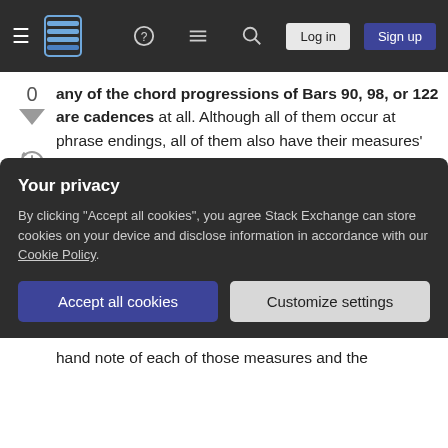Stack Exchange navigation bar with hamburger menu, logo, help, chat, search, Log in, Sign up buttons
any of the chord progressions of Bars 90, 98, or 122 are cadences at all. Although all of them occur at phrase endings, all of them also have their measures' left-hand parts start with the same note as the start of the previous measure's left-hand part. Combined with the right-hand parts, this gives off the impression that they are prolonging the chord progression of the previous measure instead of being full-blown cadences that provide closure. Honestly, the transitions of Bars 88-89, Bars 96-97, and Bars 120-121 sound more like cadences to me.
Your privacy
By clicking "Accept all cookies", you agree Stack Exchange can store cookies on your device and disclose information in accordance with our Cookie Policy.
Accept all cookies  Customize settings
hand note of each of those measures and the